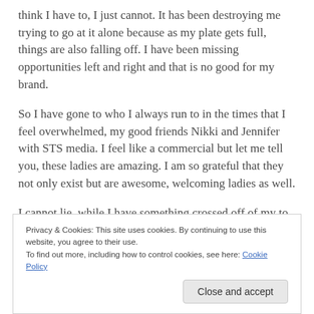think I have to, I just cannot. It has been destroying me trying to go at it alone because as my plate gets full, things are also falling off. I have been missing opportunities left and right and that is no good for my brand.
So I have gone to who I always run to in the times that I feel overwhelmed, my good friends Nikki and Jennifer with STS media. I feel like a commercial but let me tell you, these ladies are amazing. I am so grateful that they not only exist but are awesome, welcoming ladies as well.
I cannot lie, while I have something crossed off of my to
Privacy & Cookies: This site uses cookies. By continuing to use this website, you agree to their use.
To find out more, including how to control cookies, see here: Cookie Policy